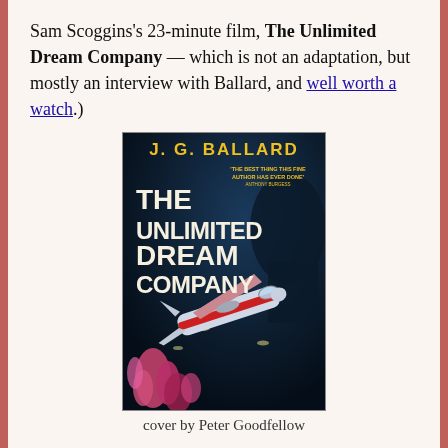Sam Scoggins's 23-minute film, The Unlimited Dream Company — which is not an adaptation, but mostly an interview with Ballard, and well worth a watch.)
[Figure (photo): Book cover of 'The Unlimited Dream Company' by J.G. Ballard. Cover art by Peter Goodfellow showing a small plane flying underwater among coral and fish. The author name is in yellow text at the top, the title in large white/cream bold letters, with a quote 'The best thing this fine author has ever done' — Anthony Burgess.]
cover by Peter Goodfellow
The...